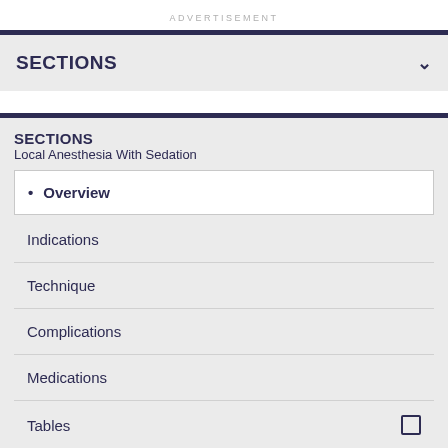ADVERTISEMENT
SECTIONS
SECTIONS
Local Anesthesia With Sedation
Overview
Indications
Technique
Complications
Medications
Tables